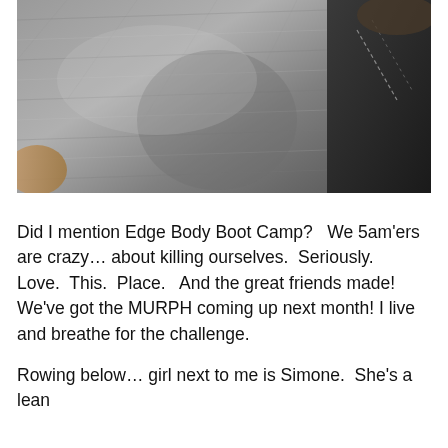[Figure (photo): Close-up photo of gray denim fabric, showing texture and stitching details with a hand partially visible and dark background on the right side.]
Did I mention Edge Body Boot Camp?   We 5am'ers are crazy… about killing ourselves.  Seriously.  Love.  This.  Place.   And the great friends made!  We've got the MURPH coming up next month! I live and breathe for the challenge.
Rowing below… girl next to me is Simone.  She's a lean